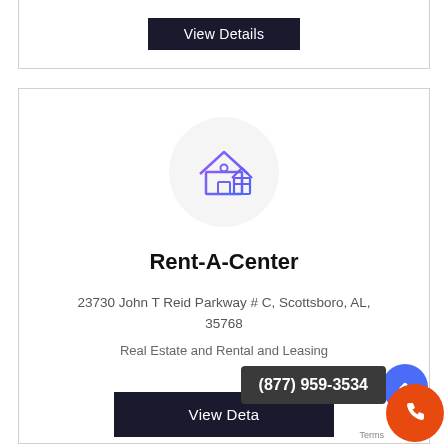[Figure (other): View Details button in dark card at top]
[Figure (illustration): Real estate / house icon inside a light grey circle]
Rent-A-Center
23730 John T Reid Parkway # C, Scottsboro, AL, 35768
Real Estate and Rental and Leasing
[Figure (other): View Details button in dark card at bottom]
(877) 959-3534